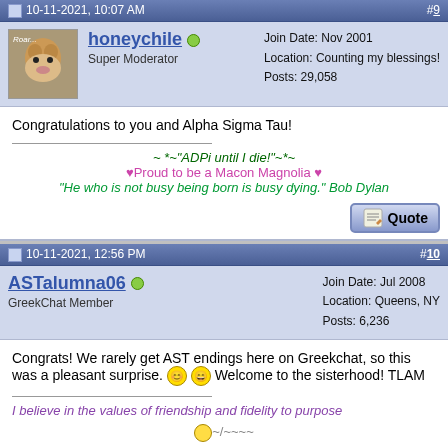10-11-2021, 10:07 AM  #9
honeychile  Super Moderator  Join Date: Nov 2001  Location: Counting my blessings!  Posts: 29,058
Congratulations to you and Alpha Sigma Tau!
~ *~"ADPi until I die!"~*~
♥Proud to be a Macon Magnolia ♥
"He who is not busy being born is busy dying." Bob Dylan
10-11-2021, 12:56 PM  #10
ASTalumna06  GreekChat Member  Join Date: Jul 2008  Location: Queens, NY  Posts: 6,236
Congrats! We rarely get AST endings here on Greekchat, so this was a pleasant surprise. Welcome to the sisterhood! TLAM
I believe in the values of friendship and fidelity to purpose
~/~~~~